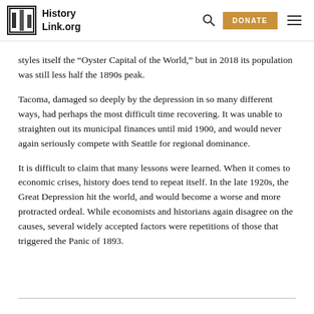History Link.org
styles itself the “Oyster Capital of the World,” but in 2018 its population was still less half the 1890s peak.
Tacoma, damaged so deeply by the depression in so many different ways, had perhaps the most difficult time recovering. It was unable to straighten out its municipal finances until mid 1900, and would never again seriously compete with Seattle for regional dominance.
It is difficult to claim that many lessons were learned. When it comes to economic crises, history does tend to repeat itself. In the late 1920s, the Great Depression hit the world, and would become a worse and more protracted ordeal. While economists and historians again disagree on the causes, several widely accepted factors were repetitions of those that triggered the Panic of 1893.